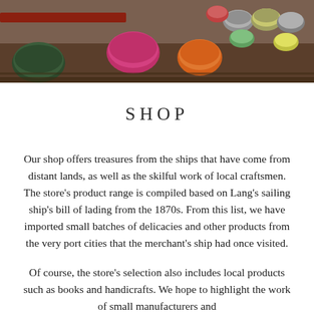[Figure (photo): Photograph of various small round tins/containers with colorful lids (green, pink, orange, yellow, grey) arranged on wooden shelves or boards, resembling a shop display of artisan goods.]
SHOP
Our shop offers treasures from the ships that have come from distant lands, as well as the skilful work of local craftsmen. The store's product range is compiled based on Lang's sailing ship's bill of lading from the 1870s. From this list, we have imported small batches of delicacies and other products from the very port cities that the merchant's ship had once visited.
Of course, the store's selection also includes local products such as books and handicrafts. We hope to highlight the work of small manufacturers and